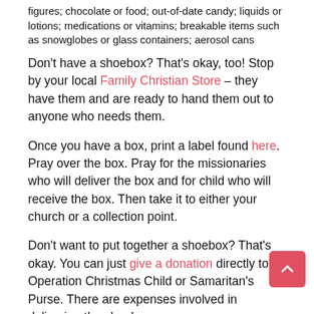figures; chocolate or food; out-of-date candy; liquids or lotions; medications or vitamins; breakable items such as snowglobes or glass containers; aerosol cans
Don't have a shoebox?  That's okay, too!  Stop by your local Family Christian Store – they have them and are ready to hand them out to anyone who needs them.
Once you have a box, print a label found here.  Pray over the box.  Pray for the missionaries who will deliver the box and for child who will receive the box.  Then take it to either your church or a collection point.
Don't want to put together a shoebox?  That's okay.  You can just give a donation directly to Operation Christmas Child or Samaritan's Purse.  There are expenses involved in delivering the shoeboxes.
Can't donate?  Then pray.  The image below shows the 1,000 Hours of Prayer countdown on the Samaritan's Purse website.  It's a screen shot from when I created